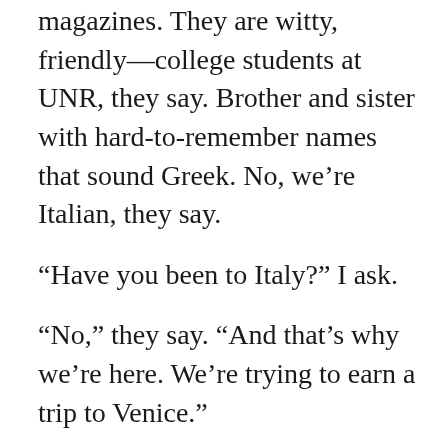magazines. They are witty, friendly—college students at UNR, they say. Brother and sister with hard-to-remember names that sound Greek. No, we're Italian, they say.
“Have you been to Italy?” I ask.
“No,” they say. “And that’s why we’re here. We’re trying to earn a trip to Venice.”
They are my neighbors, they say. Their dad works with the police. They use the